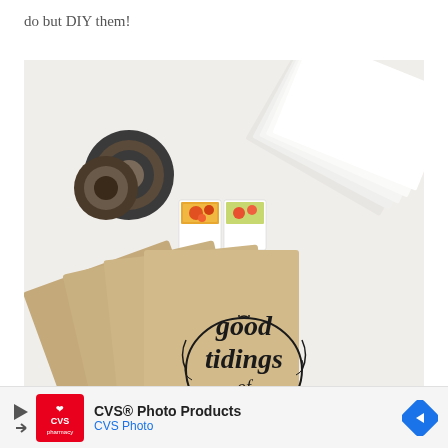do but DIY them!
[Figure (photo): Overhead flat lay photo showing kraft paper cards with 'good tidings of comfort' handwritten in black ink within a wreath illustration, fanned out. Also visible: white envelopes stacked in upper right, several colorful floral stamps, and rolls of washi/masking tape on a white surface.]
[Figure (other): Advertisement banner for CVS Photo Products / CVS Photo with CVS Pharmacy logo (red background with white heart and text), play/skip arrow icons, and a blue diamond navigation arrow.]